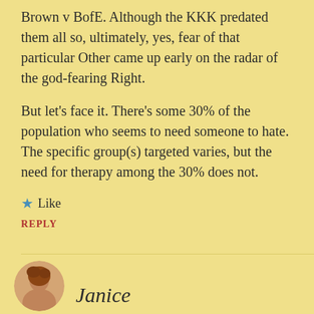Brown v BofE. Although the KKK predated them all so, ultimately, yes, fear of that particular Other came up early on the radar of the god-fearing Right.
But let's face it. There's some 30% of the population who seems to need someone to hate. The specific group(s) targeted varies, but the need for therapy among the 30% does not.
★ Like
REPLY
Janice